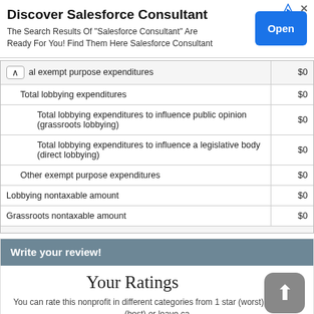[Figure (screenshot): Advertisement banner: 'Discover Salesforce Consultant' with 'Open' button]
| Description | Amount |
| --- | --- |
| al exempt purpose expenditures | $0 |
| Total lobbying expenditures | $0 |
| Total lobbying expenditures to influence public opinion (grassroots lobbying) | $0 |
| Total lobbying expenditures to influence a legislative body (direct lobbying) | $0 |
| Other exempt purpose expenditures | $0 |
| Lobbying nontaxable amount | $0 |
| Grassroots nontaxable amount | $0 |
Write your review!
Your Ratings
You can rate this nonprofit in different categories from 1 star (worst) to 5 stars (best) or leave ca unrated